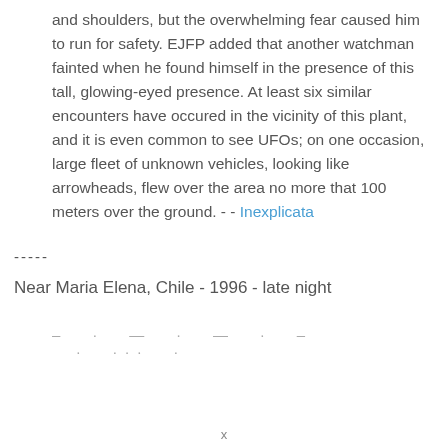and shoulders, but the overwhelming fear caused him to run for safety. EJFP added that another watchman fainted when he found himself in the presence of this tall, glowing-eyed presence. At least six similar encounters have occured in the vicinity of this plant, and it is even common to see UFOs; on one occasion, large fleet of unknown vehicles, looking like arrowheads, flew over the area no more that 100 meters over the ground. - - Inexplicata
-----
Near Maria Elena, Chile - 1996 - late night
– · — · — · – · ··· ·
x